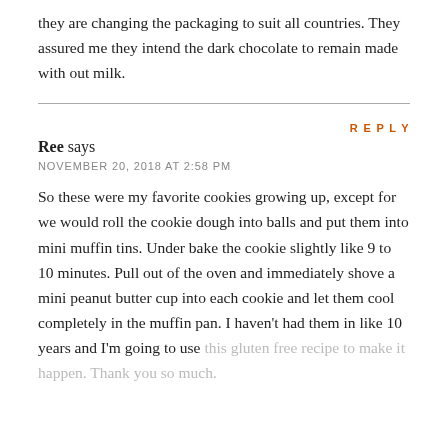they are changing the packaging to suit all countries. They assured me they intend the dark chocolate to remain made with out milk.
REPLY
Ree says
NOVEMBER 20, 2018 AT 2:58 PM
So these were my favorite cookies growing up, except for we would roll the cookie dough into balls and put them into mini muffin tins. Under bake the cookie slightly like 9 to 10 minutes. Pull out of the oven and immediately shove a mini peanut butter cup into each cookie and let them cool completely in the muffin pan. I haven't had them in like 10 years and I'm going to use this gluten free recipe to make it happen. Thank you so much.